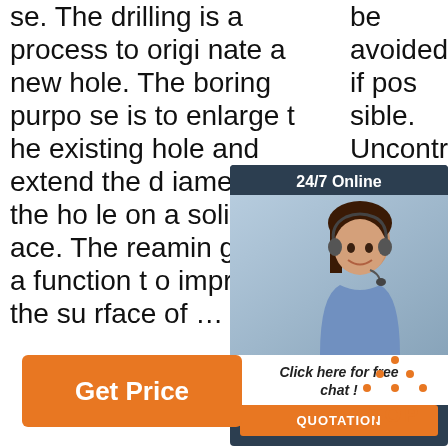se. The drilling is a process to originate a new hole. The boring purpose is to enlarge the existing hole and extend the diameter of the hole on a solid surface. The reaming has a function to improve the surface of ...
be avoided if possible. Uncontrolled or poorly managed back reaming c... risk ... at c ...
[Figure (other): 24/7 Online chat widget with photo of a customer service representative and a QUOTATION button]
[Figure (other): Orange Get Price button]
[Figure (other): Orange TOP scroll-to-top button with dotted triangle icon]